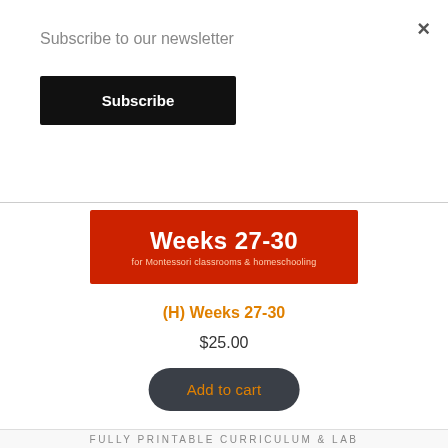×
Subscribe to our newsletter
Subscribe
[Figure (illustration): Red banner image with white text reading 'Weeks 27-30' and subtitle 'for Montessori classrooms & homeschooling']
(H) Weeks 27-30
$25.00
Add to cart
FULLY PRINTABLE CURRICULUM & LAB